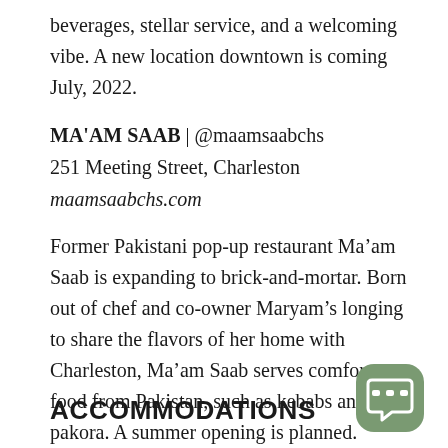beverages, stellar service, and a welcoming vibe. A new location downtown is coming July, 2022.
MA'AM SAAB | @maamsaabchs
251 Meeting Street, Charleston
maamsaabchs.com
Former Pakistani pop-up restaurant Ma’am Saab is expanding to brick-and-mortar. Born out of chef and co-owner Maryam’s longing to share the flavors of her home with Charleston, Ma’am Saab serves comfort food from Pakistan, such as kebabs and pakora. A summer opening is planned.
ACCOMMODATIONS